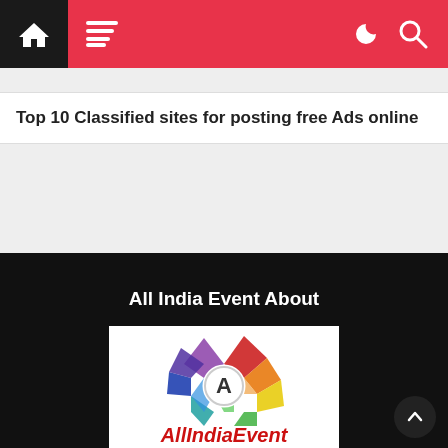Navigation bar with home, menu, dark mode, and search icons
Top 10 Classified sites for posting free Ads online
All India Event About
[Figure (logo): AllIndiaEvent logo: a colorful geometric flower/star shape with an 'A' in a white circle at center, and 'AllIndiaEvent' text in red italic bold below]